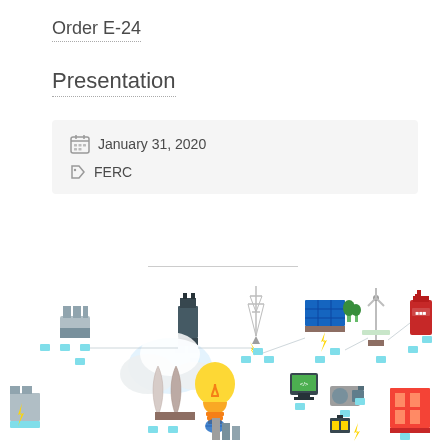Order E-24
Presentation
January 31, 2020
FERC
[Figure (illustration): Isometric illustration of energy grid showing various power generation sources including industrial plant, power substation, transmission tower, solar panels, wind turbine, battery storage, nuclear cooling towers, light bulb, smart meter, and other energy infrastructure connected by network lines.]